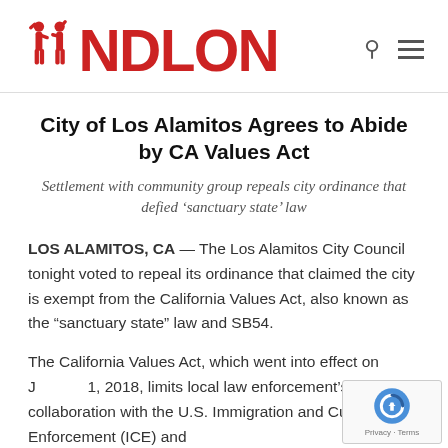NDLON
City of Los Alamitos Agrees to Abide by CA Values Act
Settlement with community group repeals city ordinance that defied ‘sanctuary state’ law
LOS ALAMITOS, CA — The Los Alamitos City Council tonight voted to repeal its ordinance that claimed the city is exempt from the California Values Act, also known as the “sanctuary state” law and SB54.
The California Values Act, which went into effect on January 1, 2018, limits local law enforcement’s collaboration with the U.S. Immigration and Customs Enforcement (ICE) and